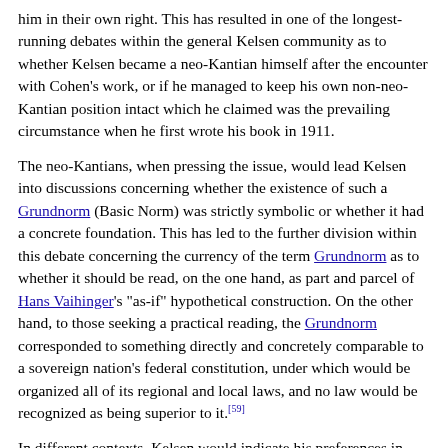him in their own right. This has resulted in one of the longest-running debates within the general Kelsen community as to whether Kelsen became a neo-Kantian himself after the encounter with Cohen's work, or if he managed to keep his own non-neo-Kantian position intact which he claimed was the prevailing circumstance when he first wrote his book in 1911.
The neo-Kantians, when pressing the issue, would lead Kelsen into discussions concerning whether the existence of such a Grundnorm (Basic Norm) was strictly symbolic or whether it had a concrete foundation. This has led to the further division within this debate concerning the currency of the term Grundnorm as to whether it should be read, on the one hand, as part and parcel of Hans Vaihinger's "as-if" hypothetical construction. On the other hand, to those seeking a practical reading, the Grundnorm corresponded to something directly and concretely comparable to a sovereign nation's federal constitution, under which would be organized all of its regional and local laws, and no law would be recognized as being superior to it.[59]
In different contexts, Kelsen would indicate his preferences in different ways, with some neo-Kantians asserting that late in life Kelsen largely abided by the symbolic reading of the term when used in the neo-Kantian context,[60] and as he has documented. The neo-Kantian reading of Kelsen can further be subdivided into